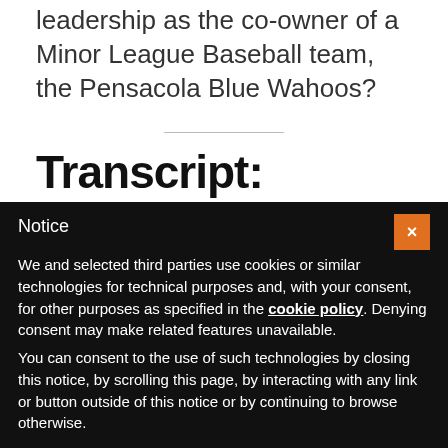leadership as the co-owner of a Minor League Baseball team, the Pensacola Blue Wahoos?
Transcript:
Mark Graban: Again, we are joined today on the
Notice
We and selected third parties use cookies or similar technologies for technical purposes and, with your consent, for other purposes as specified in the cookie policy. Denying consent may make related features unavailable.
You can consent to the use of such technologies by closing this notice, by scrolling this page, by interacting with any link or button outside of this notice or by continuing to browse otherwise.